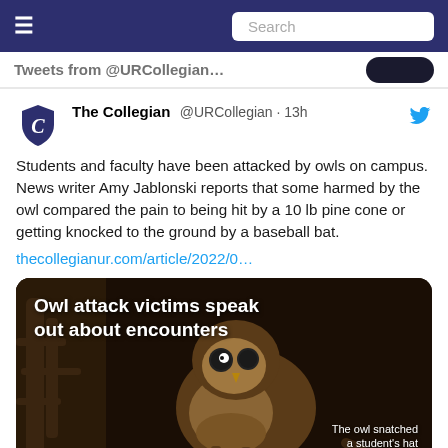Tweets from @URCollegian...
The Collegian @URCollegian · 13h — Students and faculty have been attacked by owls on campus. News writer Amy Jablonski reports that some harmed by the owl compared the pain to being hit by a 10 lb pine cone or getting knocked to the ground by a baseball bat. thecollegianur.com/article/2022/0...
[Figure (photo): Dark photo of an owl perched, with text overlay 'Owl attack victims speak out about encounters' and caption 'The owl snatched a student's hat']
1  25